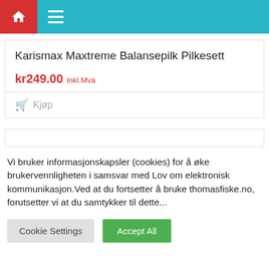Home | Menu
Karismax Maxtreme Balansepilk Pilkesett
kr249.00 Inkl.Mva
Kjøp
Vi bruker informasjonskapsler (cookies) for å øke brukervennligheten i samsvar med Lov om elektronisk kommunikasjon.Ved at du fortsetter å bruke thomasfiske.no, forutsetter vi at du samtykker til dette...
Cookie Settings | Accept All